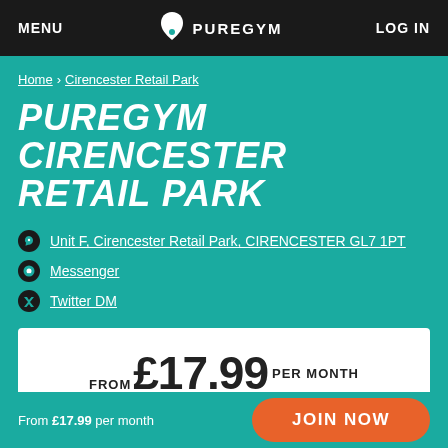MENU | PUREGYM | LOG IN
Home > Cirencester Retail Park
PUREGYM CIRENCESTER RETAIL PARK
Unit F, Cirencester Retail Park, CIRENCESTER GL7 1PT
Messenger
Twitter DM
FROM £17.99 PER MONTH
NO CONTRACT GYM - leave any time
From £17.99 per month | JOIN NOW